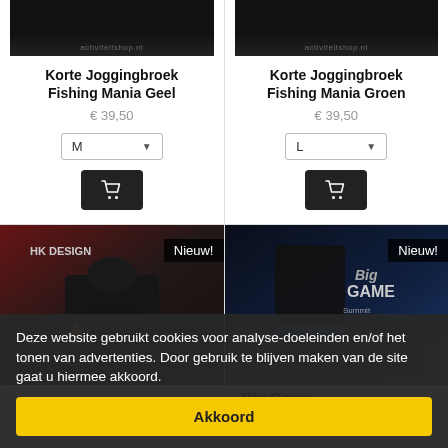Korte Joggingbroek Fishing Mania Geel
€ 39,50
Korte Joggingbroek Fishing Mania Groen
€ 39,50
[Figure (photo): Product photo of black shorts - left item, top half of page]
[Figure (photo): Product photo of black shorts - right item, top half of page]
[Figure (photo): New item: black hoodie/jacket from HK Design, with Nieuw! badge]
[Figure (photo): New item: Big Game Summit shorts and accessories in black/blue, with Nieuw! badge]
- Big Game
,00
Deze website gebruikt cookies voor analyse-doeleinden en/of het tonen van advertenties. Door gebruik te blijven maken van de site gaat u hiermee akkoord.
Akkoord